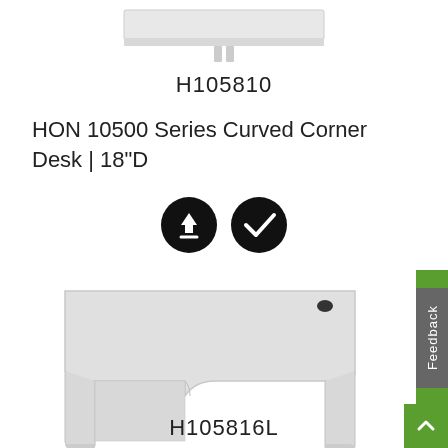[Figure (photo): Partial view of a white HON curved corner desk, top portion cropped]
H105810
HON 10500 Series Curved Corner Desk | 18"D
[Figure (illustration): Two circular black buttons: a download arrow icon and a checkmark icon]
[Figure (photo): White HON curved corner desk with panel legs, left configuration, viewed from front-right angle]
H105816L